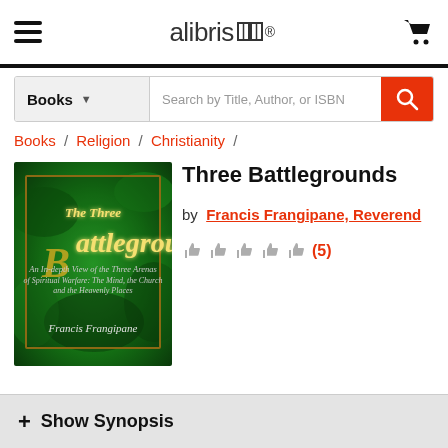alibris
[Figure (screenshot): Search bar with Books category dropdown and search input field with magnifying glass button]
Books / Religion / Christianity /
Three Battlegrounds
by Francis Frangipane, Reverend
[Figure (illustration): Book cover of The Three Battlegrounds by Francis Frangipane with green smoky background and gold title text]
(5) rating with 5 thumbs up icons
+ Show Synopsis